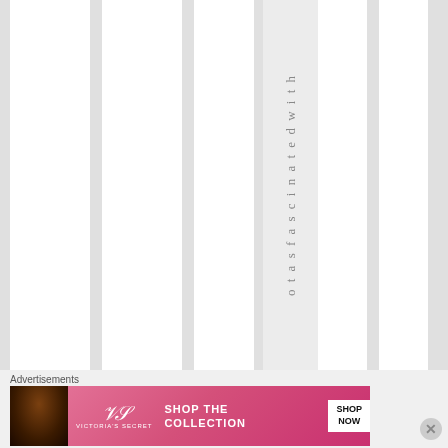[Figure (screenshot): Web page layout with white content columns separated by light gray gutters, with vertical rotated text reading 'otasfascinated with' in a center-right column]
otasfascinatedwith
Advertisements
[Figure (photo): Victoria's Secret advertisement banner with model, VS logo, 'SHOP THE COLLECTION' text, and 'SHOP NOW' button]